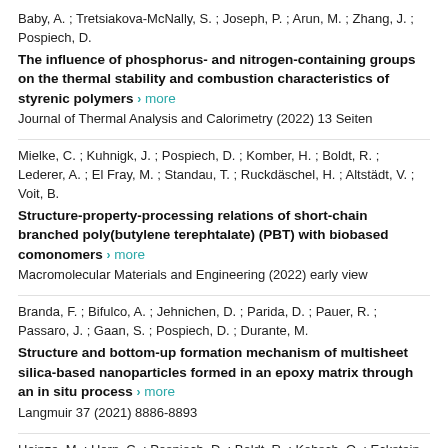Baby, A. ; Tretsiakova-McNally, S. ; Joseph, P. ; Arun, M. ; Zhang, J. ; Pospiech, D.
The influence of phosphorus- and nitrogen-containing groups on the thermal stability and combustion characteristics of styrenic polymers › more
Journal of Thermal Analysis and Calorimetry (2022) 13 Seiten
Mielke, C. ; Kuhnigk, J. ; Pospiech, D. ; Komber, H. ; Boldt, R. ; Lederer, A. ; El Fray, M. ; Standau, T. ; Ruckdäschel, H. ; Altstädt, V. ; Voit, B.
Structure-property-processing relations of short-chain branched poly(butylene terephtalate) (PBT) with biobased comonomers › more
Macromolecular Materials and Engineering (2022) early view
Branda, F. ; Bifulco, A. ; Jehnichen, D. ; Parida, D. ; Pauer, R. ; Passaro, J. ; Gaan, S. ; Pospiech, D. ; Durante, M.
Structure and bottom-up formation mechanism of multisheet silica-based nanoparticles formed in an epoxy matrix through an in situ process › more
Langmuir 37 (2021) 8886-8893
Heinze, M. ; Horn, C. ; Pospiech, D. ; Boldt, R. ; Kobsch, O. ; Eckstein, K. ;